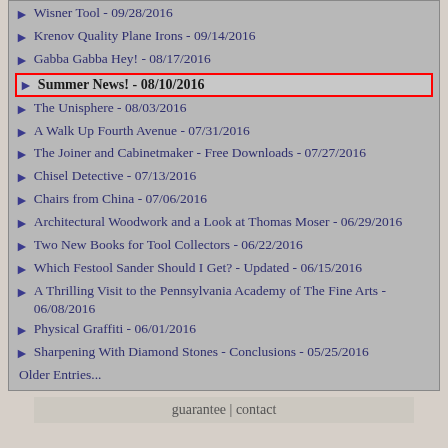Wisner Tool - 09/28/2016
Krenov Quality Plane Irons - 09/14/2016
Gabba Gabba Hey! - 08/17/2016
Summer News! - 08/10/2016
The Unisphere - 08/03/2016
A Walk Up Fourth Avenue - 07/31/2016
The Joiner and Cabinetmaker - Free Downloads - 07/27/2016
Chisel Detective - 07/13/2016
Chairs from China - 07/06/2016
Architectural Woodwork and a Look at Thomas Moser - 06/29/2016
Two New Books for Tool Collectors - 06/22/2016
Which Festool Sander Should I Get? - Updated - 06/15/2016
A Thrilling Visit to the Pennsylvania Academy of The Fine Arts - 06/08/2016
Physical Graffiti - 06/01/2016
Sharpening With Diamond Stones - Conclusions - 05/25/2016
Older Entries...
guarantee | contact